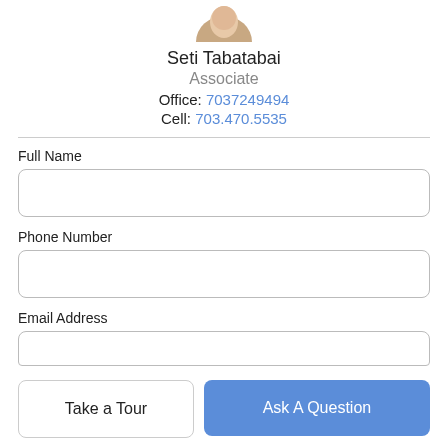[Figure (photo): Partial photo of agent Seti Tabatabai at the top of the page]
Seti Tabatabai
Associate
Office: 7037249494
Cell: 703.470.5535
Full Name
Phone Number
Email Address
Take a Tour
Ask A Question